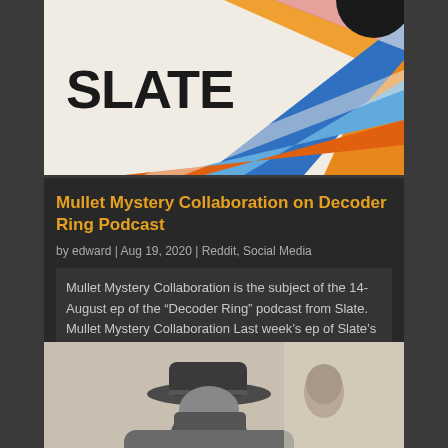[Figure (logo): Slate podcast logo banner with colorful radiating stripes in red, blue, orange and white, with SLATE text in bold black]
Mullet Mystery Collaboration on Decoder Ring Podcast
by edward | Aug 19, 2020 | Reddit, Social Media
Mullet Mystery Collaboration is the subject of the 14-August ep of the "Decoder Ring" podcast from Slate. Mullet Mystery Collaboration Last week's ep of Slate's "Decoder Ring" podcast discusses the "Mystery of the Mullet." You know, "business in the front, party in...
[Figure (photo): Black and white photo of a person with a mullet hairstyle wearing a cowboy hat, viewed from behind/side]